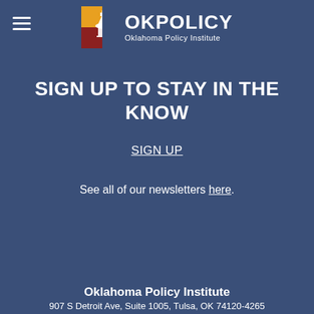OKPolicy Oklahoma Policy Institute
SIGN UP TO STAY IN THE KNOW
SIGN UP
See all of our newsletters here.
Oklahoma Policy Institute
907 S Detroit Ave, Suite 1005, Tulsa, OK 74120-4265